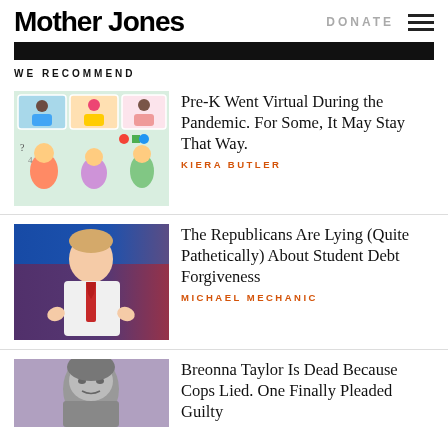Mother Jones | DONATE
WE RECOMMEND
[Figure (illustration): Illustration of children on video calls for virtual Pre-K learning, colorful cartoon style]
Pre-K Went Virtual During the Pandemic. For Some, It May Stay That Way.
KIERA BUTLER
[Figure (photo): Photo of a man in white shirt and red tie speaking at an event, blue and red background]
The Republicans Are Lying (Quite Pathetically) About Student Debt Forgiveness
MICHAEL MECHANIC
[Figure (photo): Photo of Breonna Taylor in grayscale/muted tones]
Breonna Taylor Is Dead Because Cops Lied. One Finally Pleaded Guilty